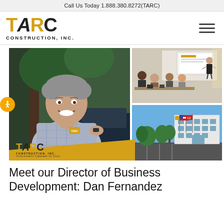Call Us Today 1.888.380.8272(TARC)
[Figure (logo): TARC Construction, Inc. logo with hamburger menu icon]
[Figure (photo): Collage of three photos: left - smiling man in plaid shirt leaning on vehicle, top right - meeting/presentation scene with people seated, bottom right - TARC office building exterior with flags. TARC Construction logo overlaid at bottom left with gold diagonal band.]
Meet our Director of Business Development: Dan Fernandez